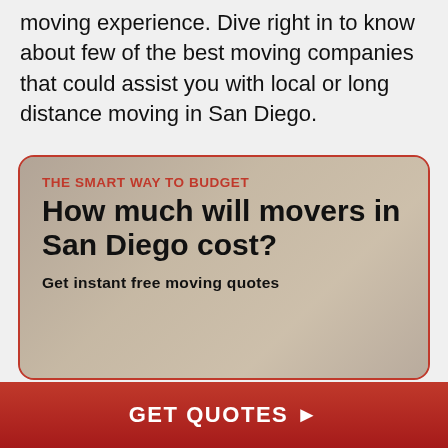moving experience. Dive right in to know about few of the best moving companies that could assist you with local or long distance moving in San Diego.
[Figure (infographic): Promotional ad box with red border and background image. Contains text: 'THE SMART WAY TO BUDGET', 'How much will movers in San Diego cost?', 'Get instant free moving quotes']
GET QUOTES ▶